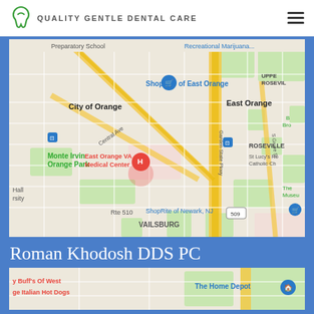Quality Gentle Dental Care
[Figure (map): Google Maps view showing East Orange VA Medical Center area in New Jersey, with labels for City of Orange, ShopRite of East Orange, East Orange, Upper Roseville, Monte Irvin Orange Park, Roseville, St Lucy's Ro Catholic Ch, Hall rsity, Rte 510, Vailsburg, ShopRite of Newark NJ, Garden State Pkwy, S Grove St, Central Ave. Red pin marker at East Orange VA Medical Center.]
Roman Khodosh DDS PC
[Figure (map): Partial Google Maps view showing The Home Depot and partially visible text including Buff's Of West ge Italian Hot Dogs.]